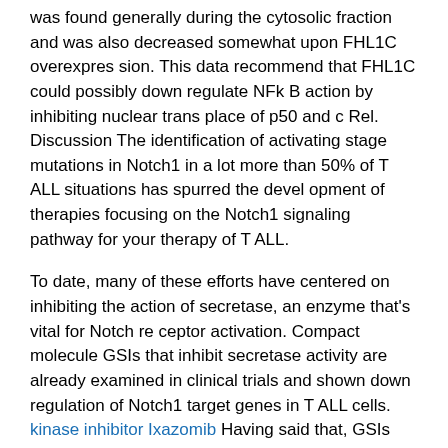was found generally during the cytosolic fraction and was also decreased somewhat upon FHL1C overexpres sion. This data recommend that FHL1C could possibly down regulate NFk B action by inhibiting nuclear trans place of p50 and c Rel. Discussion The identification of activating stage mutations in Notch1 in a lot more than 50% of T ALL situations has spurred the devel opment of therapies focusing on the Notch1 signaling pathway for your therapy of T ALL.
To date, many of these efforts have centered on inhibiting the action of secretase, an enzyme that's vital for Notch re ceptor activation. Compact molecule GSIs that inhibit secretase activity are already examined in clinical trials and shown down regulation of Notch1 target genes in T ALL cells. kinase inhibitor Ixazomib Having said that, GSIs are not selective for Notch1 signaling and block other Notch receptors and physiological pathways requiring secretase. Indeed, patients have developed marked fatigue and dose limiting gastrointestinal toxicity in clinical trials of GSIs, due to the inhibition of Notch1 and Notch2